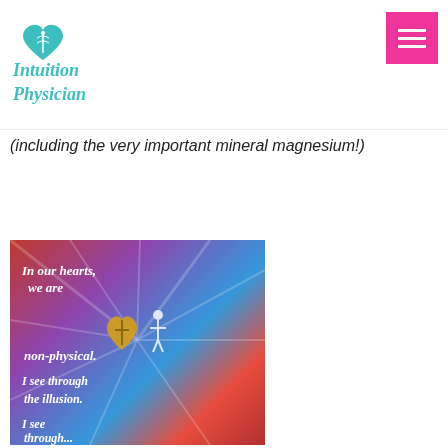Intuition Physician
(including the very important mineral magnesium!)
[Figure (illustration): Inspirational spiritual artwork with text overlay reading: 'In our hearts, we are non-physical. I see through the illusion. I see through...' with colorful painted background featuring figures and a heart symbol]